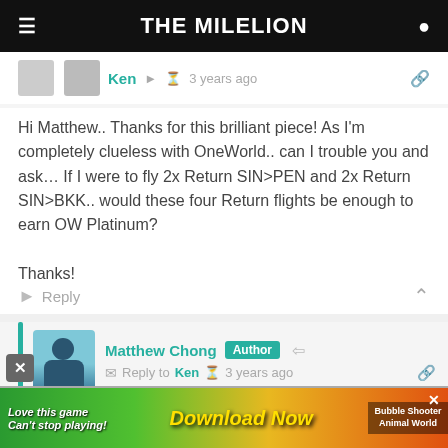THE MILELION
Ken  · 3 years ago
Hi Matthew.. Thanks for this brilliant piece! As I'm completely clueless with OneWorld.. can I trouble you and ask… If I were to fly 2x Return SIN>PEN and 2x Return SIN>BKK.. would these four Return flights be enough to earn OW Platinum?

Thanks!
Reply
Matthew Chong  Author  · Reply to Ken  · 3 years ago
Nope. That will only give you 96 Elite Sectors.
SIN – KUL – XYZ – KUL – SIN would be 24 elite sectors if
[Figure (screenshot): Advertisement banner: 'Love this game Can't stop playing! Download Now' with game graphics and 'Bubble Shooter Animal World' label]